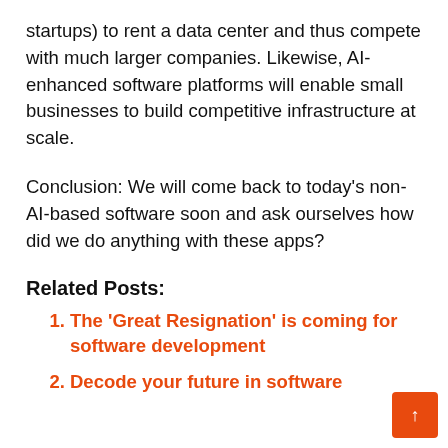startups) to rent a data center and thus compete with much larger companies. Likewise, AI-enhanced software platforms will enable small businesses to build competitive infrastructure at scale.
Conclusion: We will come back to today's non-AI-based software soon and ask ourselves how did we do anything with these apps?
Related Posts:
The 'Great Resignation' is coming for software development
Decode your future in software